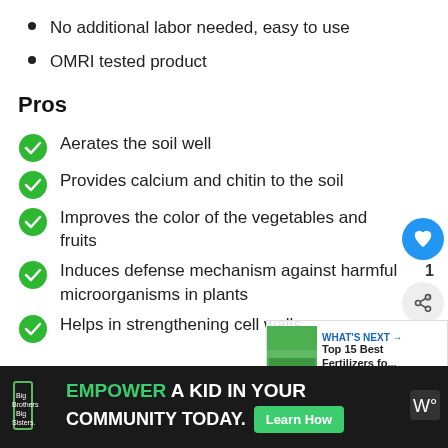No additional labor needed, easy to use
OMRI tested product
Pros
Aerates the soil well
Provides calcium and chitin to the soil
Improves the color of the vegetables and fruits
Induces defense mechanism against harmful microorganisms in plants
Helps in strengthening cell walls
[Figure (infographic): Ad banner at bottom: Big Brothers Big Sisters logo with text EMPOWER A KID IN YOUR COMMUNITY TODAY. and Learn How button, plus social share UI elements and What's Next panel for Top 15 Best Fertilizers]
EMPOWER A KID IN YOUR COMMUNITY TODAY. Learn How